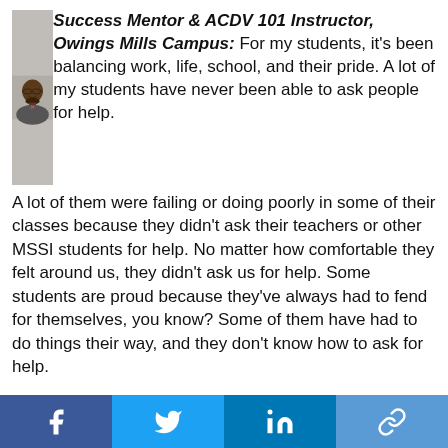[Figure (photo): Headshot of a young Black man with glasses and a beard, wearing a grey jacket over a pink shirt, smiling]
Success Mentor & ACDV 101 Instructor, Owings Mills Campus: For my students, it's been balancing work, life, school, and their pride. A lot of my students have never been able to ask people for help. A lot of them were failing or doing poorly in some of their classes because they didn't ask their teachers or other MSSI students for help. No matter how comfortable they felt around us, they didn't ask us for help. Some students are proud because they've always had to fend for themselves, you know? Some of them have had to do things their way, and they don't know how to ask for help.
Uchendu: Julian brings up a very important point about asking for help. We didn't know some students were failing and have until they came to interviews, they had...
[Figure (infographic): Social media share bar with Facebook, Twitter, LinkedIn, and link/share buttons]